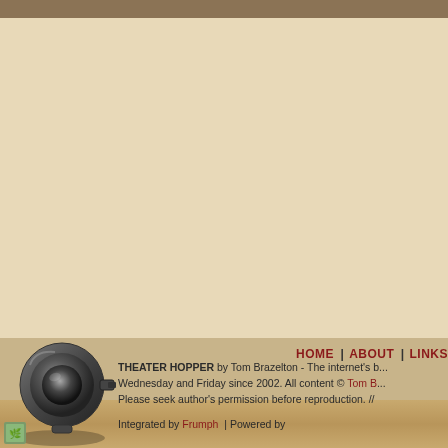HOME | ABOUT | LINKS
THEATER HOPPER by Tom Brazelton - The internet's b... Wednesday and Friday since 2002. All content © Tom B... Please seek author's permission before reproduction. //
Integrated by Frumph | Powered by
[Figure (illustration): 3D rendered metallic projector/lens assembly in dark gray/silver tones, positioned at the bottom left of the footer area]